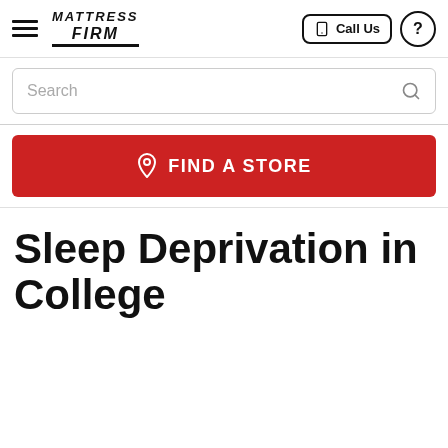Mattress Firm — Call Us | Help
[Figure (screenshot): Search bar with placeholder text 'Search' and a magnifying glass icon on the right]
[Figure (infographic): Red button reading FIND A STORE with a map pin icon]
Sleep Deprivation in College